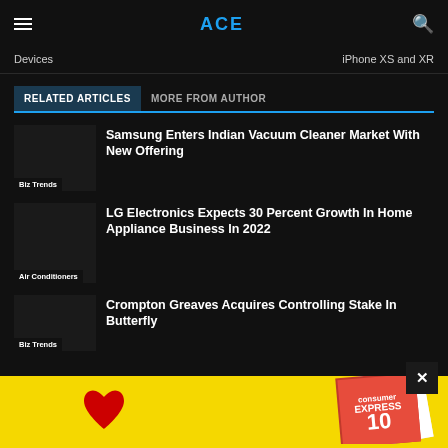ACE
Devices | iPhone XS and XR
RELATED ARTICLES | MORE FROM AUTHOR
Samsung Enters Indian Vacuum Cleaner Market With New Offering
Biz Trends
LG Electronics Expects 30 Percent Growth In Home Appliance Business In 2022
Air Conditioners
Crompton Greaves Acquires Controlling Stake In Butterfly
Biz Trends
[Figure (photo): Yellow advertisement banner with red heart and newspaper/magazine image at bottom of page]